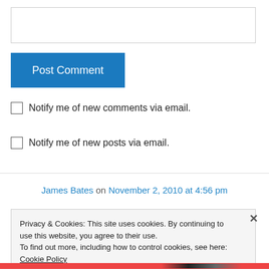[Figure (screenshot): Empty textarea input box for comment entry]
Post Comment
Notify me of new comments via email.
Notify me of new posts via email.
James Bates on November 2, 2010 at 4:56 pm
Privacy & Cookies: This site uses cookies. By continuing to use this website, you agree to their use. To find out more, including how to control cookies, see here: Cookie Policy
Close and accept